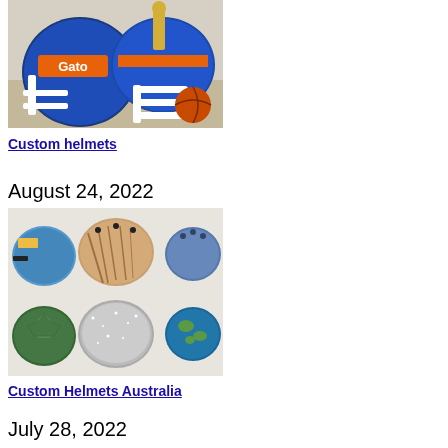[Figure (photo): Two custom football helmets - one blue with 'Gators' text and one blue/orange helmet with white face mask, on a desk with trophies in background]
Custom helmets
August 24, 2022
[Figure (photo): Grid of six custom helmets showing various designs: tie-dye/colorful, wood grain, denim-look, turtle shell pattern, glitter/sparkle, and Earth globe pattern]
Custom Helmets Australia
July 28, 2022